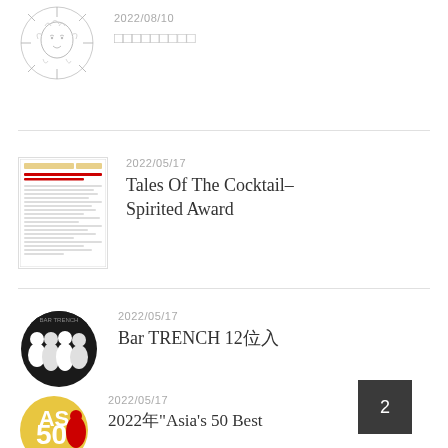2022/08/10 □□□□□□□□□
2022/05/17 Tales Of The Cocktail-Spirited Award
2022/05/17 Bar TRENCH 12位入
2022/05/17 2022年"Asia's 50 Best